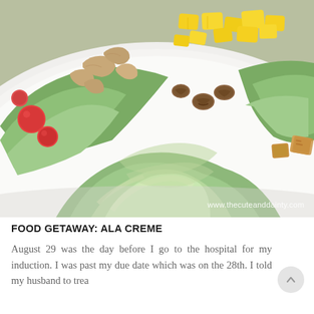[Figure (photo): Close-up photo of a salad on a white plate featuring green lettuce leaves coated in dressing, diced yellow mango, pieces of chicken, walnuts, croutons, and cherry tomatoes. Watermark reads www.thecuteanddainty.com]
FOOD GETAWAY: ALA CREME
August 29 was the day before I go to the hospital for my induction. I was past my due date which was on the 28th. I told my husband to trea